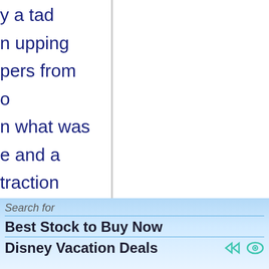y a tad n upping pers from o n what was e and a traction reaching a n wake of e single erive nd 0.9250 at the Aussie nderwrite etite, as it o their US including
Search for
Best Stock to Buy Now
Disney Vacation Deals